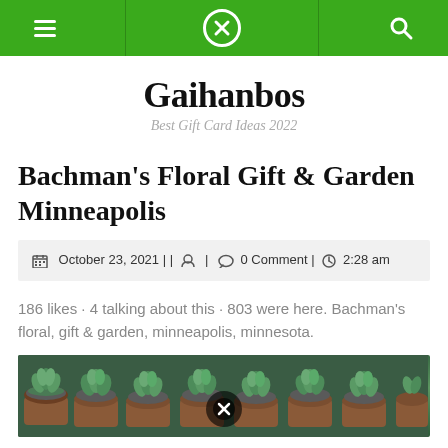Navigation bar with menu, logo, and search icons
Gaihanbos
Best Gift Card Ideas 2022
Bachman's Floral Gift & Garden Minneapolis
October 23, 2021 | | | 0 Comment | 2:28 am
186 likes · 4 talking about this · 803 were here. Bachman's floral, gift & garden, minneapolis, minnesota.
[Figure (photo): Photo of succulent plants in small terracotta pots arranged in rows, viewed from above, with a close/X button overlay at bottom center]